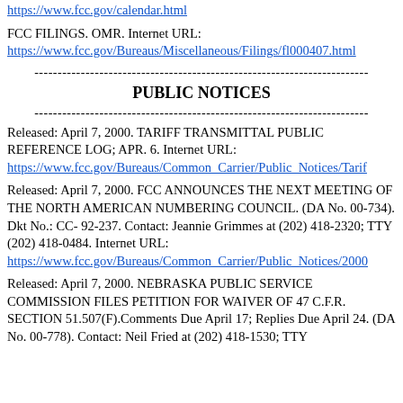https://www.fcc.gov/calendar.html
FCC FILINGS. OMR. Internet URL: https://www.fcc.gov/Bureaus/Miscellaneous/Filings/fl000407.html
------------------------------------------------------------------------
PUBLIC NOTICES
------------------------------------------------------------------------
Released: April 7, 2000. TARIFF TRANSMITTAL PUBLIC REFERENCE LOG; APR. 6. Internet URL: https://www.fcc.gov/Bureaus/Common_Carrier/Public_Notices/Tarif
Released: April 7, 2000. FCC ANNOUNCES THE NEXT MEETING OF THE NORTH AMERICAN NUMBERING COUNCIL. (DA No. 00-734). Dkt No.: CC- 92-237. Contact: Jeannie Grimmes at (202) 418-2320; TTY (202) 418-0484. Internet URL: https://www.fcc.gov/Bureaus/Common_Carrier/Public_Notices/2000
Released: April 7, 2000. NEBRASKA PUBLIC SERVICE COMMISSION FILES PETITION FOR WAIVER OF 47 C.F.R. SECTION 51.507(F).Comments Due April 17; Replies Due April 24. (DA No. 00-778). Contact: Neil Fried at (202) 418-1530; TTY